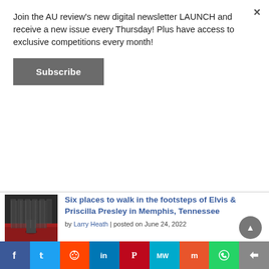Join the AU review's new digital newsletter LAUNCH and receive a new issue every Thursday! Plus have access to exclusive competitions every month!
Subscribe
Six places to walk in the footsteps of Elvis & Priscilla Presley in Memphis, Tennessee
by Larry Heath | posted on June 24, 2022
Does Air Canada's Preferred Seating make a difference? We flew Hong Kong to Vancouver to find out
by Larry Heath | posted on July 10, 2019